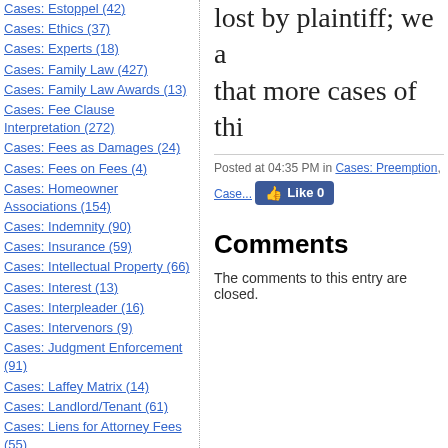Cases: Estoppel (42)
Cases: Ethics (37)
Cases: Experts (18)
Cases: Family Law (427)
Cases: Family Law Awards (13)
Cases: Fee Clause Interpretation (272)
Cases: Fees as Damages (24)
Cases: Fees on Fees (4)
Cases: Homeowner Associations (154)
Cases: Indemnity (90)
Cases: Insurance (59)
Cases: Intellectual Property (66)
Cases: Interest (13)
Cases: Interpleader (16)
Cases: Intervenors (9)
Cases: Judgment Enforcement (91)
Cases: Laffey Matrix (14)
Cases: Landlord/Tenant (61)
Cases: Liens for Attorney Fees (55)
Cases: Lis Pendens (5)
Cases: Lodestar (127)
Cases: Mediation (47)
Cases: Minors (14)
lost by plaintiff; we a that more cases of thi
Posted at 04:35 PM in Cases: Preemption, Case...
Comments
The comments to this entry are closed.